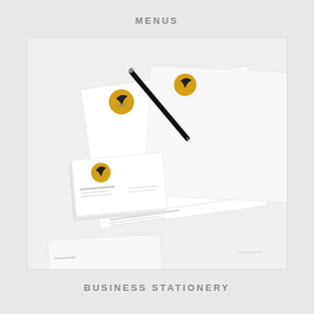MENUS
[Figure (photo): Business stationery mockup photo showing letterhead, business cards, and an envelope with a '50' bird logo in gold and black, arranged on a white surface with a black pen.]
BUSINESS STATIONERY